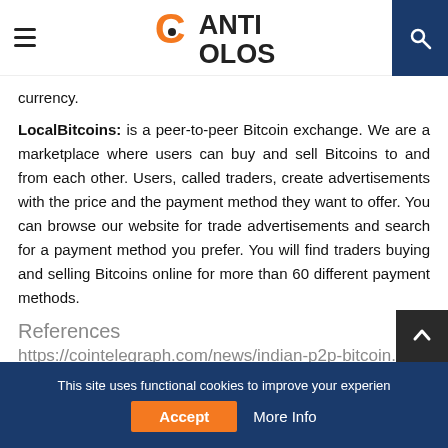Canticolos — hamburger menu, logo, search icon
currency.
LocalBitcoins: is a peer-to-peer Bitcoin exchange. We are a marketplace where users can buy and sell Bitcoins to and from each other. Users, called traders, create advertisements with the price and the payment method they want to offer. You can browse our website for trade advertisements and search for a payment method you prefer. You will find traders buying and selling Bitcoins online for more than 60 different payment methods.
References
https://cointelegraph.com/news/indian-p2p-bitcoin...
This site uses functional cookies to improve your experien Accept More Info